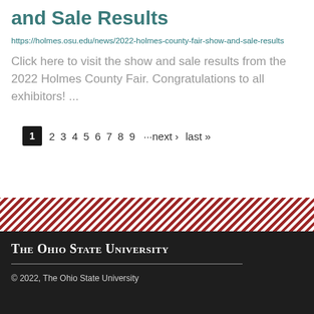and Sale Results
https://holmes.osu.edu/news/2022-holmes-county-fair-show-and-sale-results
Click here to visit the show and sale results from the 2022 Holmes County Fair. Congratulations to all exhibitors! ...
1  2  3  4  5  6  7  8  9  ···next ›  last »
[Figure (other): Decorative diagonal red and white stripe band]
The Ohio State University
© 2022, The Ohio State University